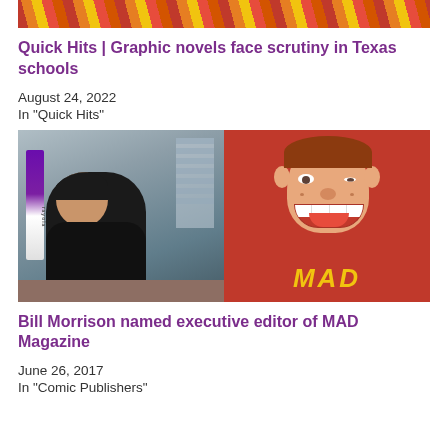[Figure (photo): Partial colorful image at the top of the page, cropped — appears to be an illustrated or comic-style image with red, orange, and yellow colors.]
Quick Hits | Graphic novels face scrutiny in Texas schools
August 24, 2022
In "Quick Hits"
[Figure (photo): Two-panel image: left shows a man (Bill Morrison) sitting at a desk with a Crayola crayon visible; right shows Alfred E. Neuman (MAD Magazine mascot) smiling on a red background with the word MAD in yellow italic letters at the bottom.]
Bill Morrison named executive editor of MAD Magazine
June 26, 2017
In "Comic Publishers"